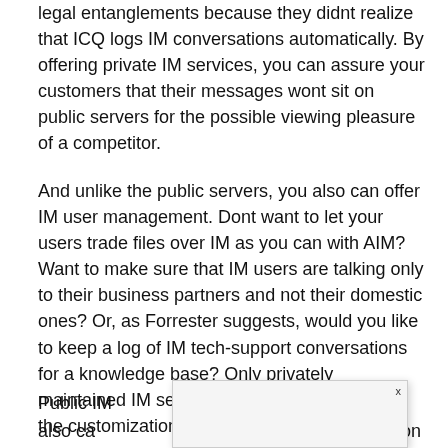legal entanglements because they didnt realize that ICQ logs IM conversations automatically. By offering private IM services, you can assure your customers that their messages wont sit on public servers for the possible viewing pleasure of a competitor.
And unlike the public servers, you also can offer IM user management. Dont want to let your users trade files over IM as you can with AIM? Want to make sure that IM users are talking only to their business partners and not their domestic ones? Or, as Forrester suggests, would you like to keep a log of IM tech-support conversations for a knowledge base? Only privately maintained IM servers and clients can provide the customization a business needs.
Public IM ...es also ca... ies on